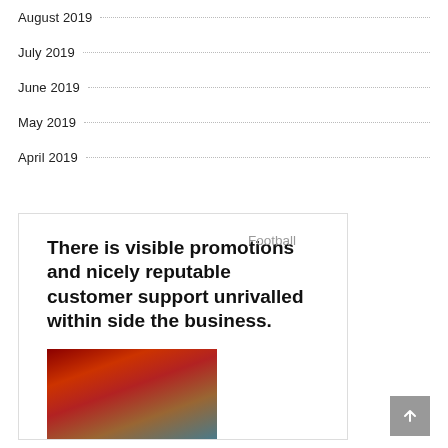August 2019
July 2019
June 2019
May 2019
April 2019
There is visible promotions and nicely reputable customer support unrivalled within side the business.
[Figure (photo): Person wearing red clothing, partially visible at bottom of promo box]
Football